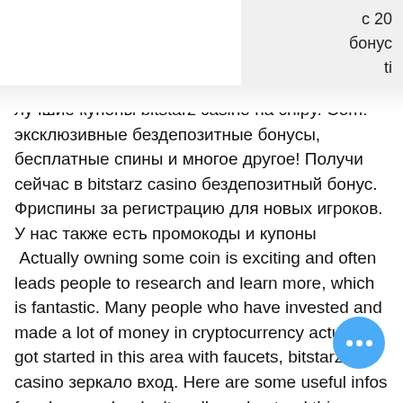с 20 бонус ti bitstarz
лучшие купоны bitstarz casino на chipy. Com! эксклюзивные бездепозитные бонусы, бесплатные спины и многое другое! Получи сейчас в bitstarz casino бездепозитный бонус. Фриспины за регистрацию для новых игроков. У нас также есть промокоды и купоны  Actually owning some coin is exciting and often leads people to research and learn more, which is fantastic. Many people who have invested and made a lot of money in cryptocurrency actually got started in this area with faucets, bitstarz casino зеркало вход. Here are some useful infos for players who don't really understand this update, bitstarz casino бездепозитный бонус 25 фриспинов за